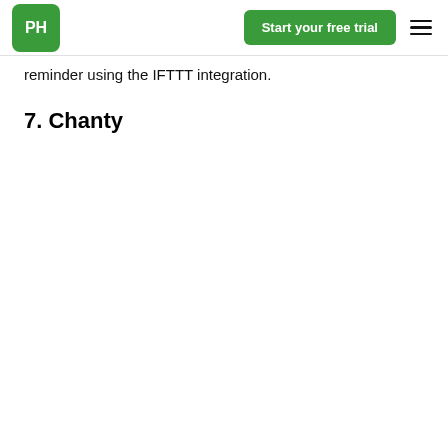PH | Start your free trial
reminder using the IFTTT integration.
7. Chanty